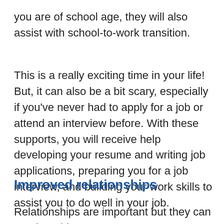you are of school age, they will also assist with school-to-work transition.
This is a really exciting time in your life! But, it can also be a bit scary, especially if you've never had to apply for a job or attend an interview before. With these supports, you will receive help developing your resume and writing job applications, preparing you for a job interview, and building your work skills to assist you to do well in your job.
Improved relationships
Relationships are important but they can require a bit of work! There are supports that assist you to be a better...